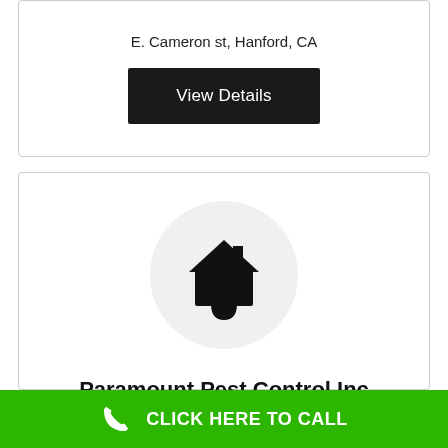E. Cameron st, Hanford, CA
View Details
[Figure (logo): House/home icon in black inside a light gray circle, representing a pest control company logo placeholder]
Paramount Pest Control Inc
CLICK HERE TO CALL